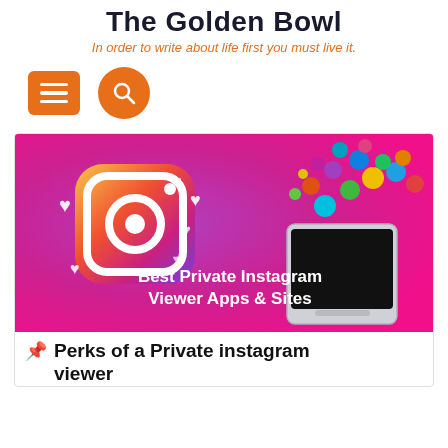The Golden Bowl
In order to write about life first you must live it.
[Figure (other): Navigation bar with orange hamburger menu button and orange circular search button]
[Figure (illustration): Promotional image with purple-to-pink gradient background, 3D Instagram logo on left with white hearts, smartphone on right with colorful app icons floating above it, white bold text reads 'Best Private Instagram Viewer Apps & Sites']
Perks of a Private instagram viewer